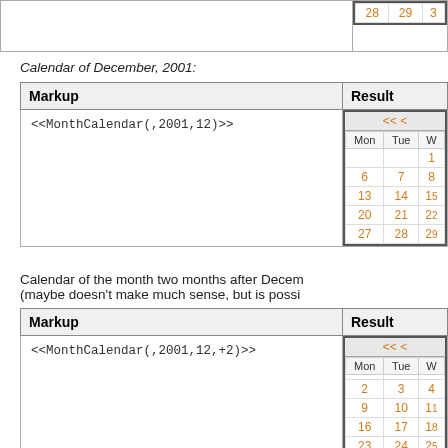|  | 28 | 29 | 30 |
| --- | --- | --- | --- |
Calendar of December, 2001:
| Markup | Result |
| --- | --- |
| <<MonthCalendar(,2001,12)>> | [Calendar widget: Dec 2001 showing Mon-Wed columns, dates 1, 6-8, 13-15, 20-22, 27-29] |
Calendar of the month two months after December, 2001 (maybe doesn't make much sense, but is possible):
| Markup | Result |
| --- | --- |
| <<MonthCalendar(,2001,12,+2)>> | [Calendar widget: Feb 2002 showing Mon-Wed columns, dates 2-4, 9-11, 16-18, 23-25, 30-31] |